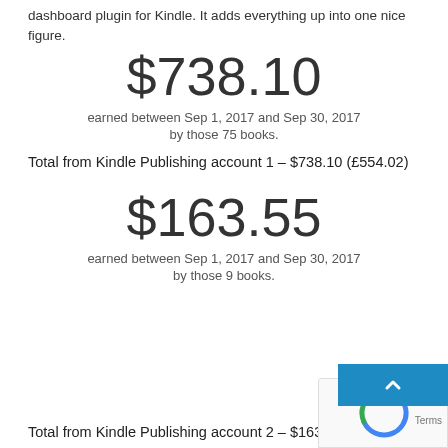dashboard plugin for Kindle. It adds everything up into one nice figure.
$738.10
earned between Sep 1, 2017 and Sep 30, 2017
by those 75 books.
Total from Kindle Publishing account 1 – $738.10 (£554.02)
$163.55
earned between Sep 1, 2017 and Sep 30, 2017
by those 9 books.
Total from Kindle Publishing account 2 – $163.55 (£122.76)